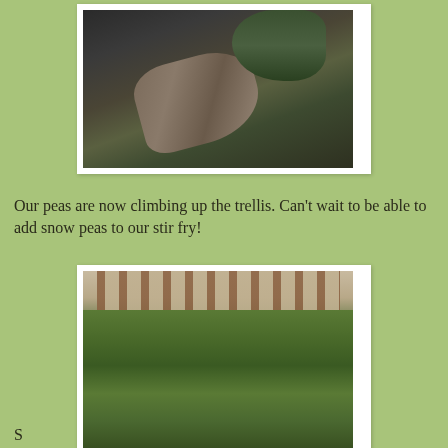[Figure (photo): Close-up photo of a plant tendril or bud against a dark background with green leaves]
Our peas are now climbing up the trellis. Can't wait to be able to add snow peas to our stir fry!
[Figure (photo): Photo of pea plants climbing a wooden trellis with lush green leaves]
S...